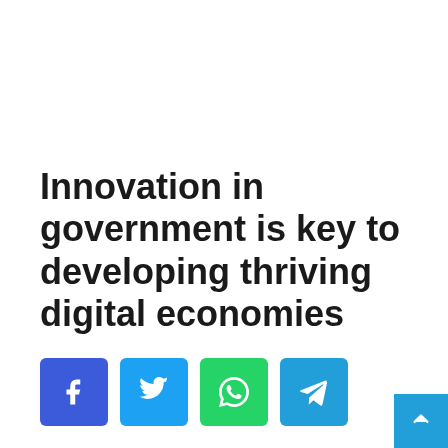Innovation in government is key to developing thriving digital economies
[Figure (other): Row of four social share buttons: Facebook (blue), Twitter (light blue), WhatsApp (green), Telegram (blue)]
Our world needs technology now more than ever. The future of the economy and our communities depends on the ability of